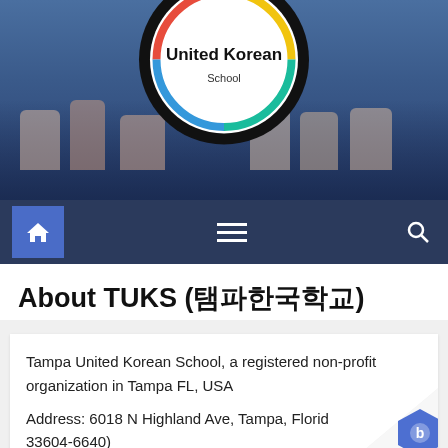[Figure (photo): Website header with photo of children waving Korean flags, overlaid with United Korean School circular logo in black and white with colorful accents]
[Figure (screenshot): Navigation bar with home icon button (blue highlighted), hamburger menu icon, and search icon on dark navy background]
About TUKS (탬파한국학교)
Tampa United Korean School, a registered non-profit organization in Tampa FL, USA
Address: 6018 N Highland Ave, Tampa, Florida 33604-6640)